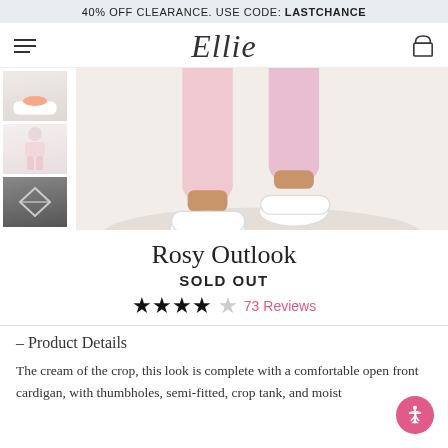40% OFF CLEARANCE. USE CODE: LASTCHANCE
[Figure (logo): Ellie brand logo in cursive script with hamburger menu icon and shopping cart icon]
[Figure (photo): Product photo showing pink leggings and white sneakers with three thumbnail images on the left]
Rosy Outlook
SOLD OUT
★★★★☆ 73 Reviews
- Product Details
The cream of the crop, this look is complete with a comfortable open front cardigan, with thumbholes, semi-fitted, crop tank, and moist